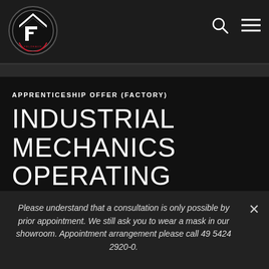Feldhaus logo with navigation search and menu icons
APPRENTICESHIP OFFER (FACTORY)
INDUSTRIAL MECHANICS OPERATING TECHNOLOGY (M/F/I) FOR 2022
Please understand that a consultation is only possible by prior appointment. We still ask you to wear a mask in our showroom. Appointment arrangement please call 49 5424 2920-0.